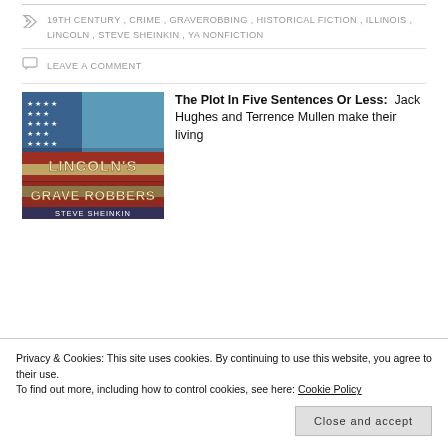19TH CENTURY, CRIME, GRAVEROBBING, HISTORICAL FICTION, ILLINOIS, LINCOLN, STEVE SHEINKIN, YA NONFICTION
LEAVE A COMMENT
[Figure (photo): Book cover of Lincoln's Grave Robbers by Steve Sheinkin, with an American flag background in distressed style]
The Plot In Five Sentences Or Less: Jack Hughes and Terrence Mullen make their living
Privacy & Cookies: This site uses cookies. By continuing to use this website, you agree to their use. To find out more, including how to control cookies, see here: Cookie Policy
Close and accept